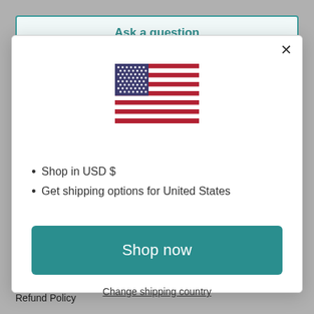Ask a question
[Figure (illustration): US flag SVG illustration centered in modal dialog]
Shop in USD $
Get shipping options for United States
Shop now
Change shipping country
Shipping Policy
Refund Policy